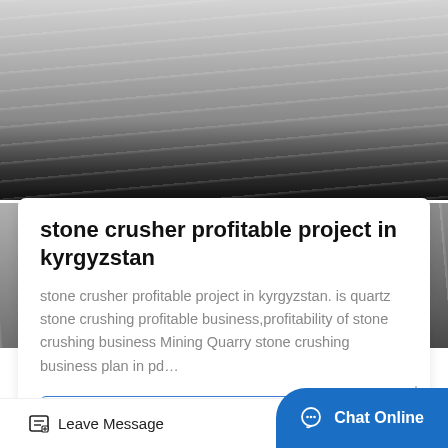[Figure (photo): Close-up photo of polished metal/stone surface with dark edge at bottom, gray gradient background]
stone crusher profitable project in kyrgyzstan
stone crusher profitable project in kyrgyzstan. is quartz stone crushing profitable business,profitability of stone crushing business Mining Quarry stone crushing business plan in pd…
Get Price
[Figure (photo): Interior photo of industrial warehouse or factory with overhead lighting and ceiling structure]
Leave Message   Chat Online